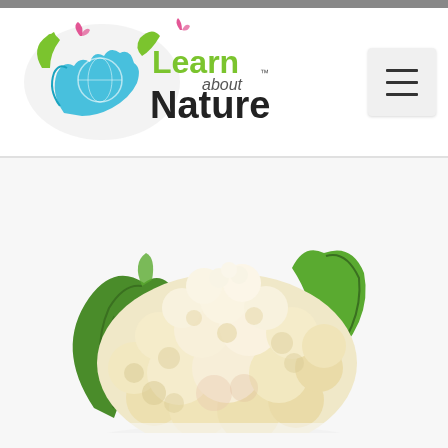[Figure (logo): Learn about Nature logo with green hands holding a globe with butterfly, colorful nature motif, green and black text]
[Figure (photo): Photo of a fresh cauliflower head with green leaves on a white background, partially cropped at bottom]